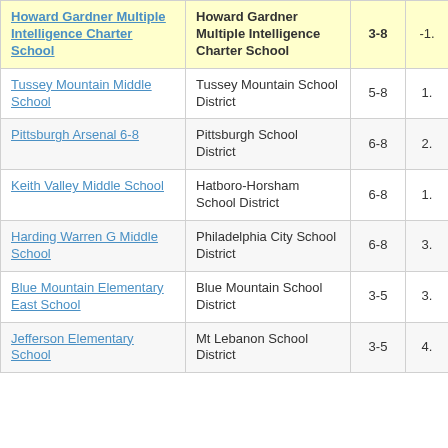| School | District | Grades | Score |
| --- | --- | --- | --- |
| Howard Gardner Multiple Intelligence Charter School | Howard Gardner Multiple Intelligence Charter School | 3-8 | -1. |
| Tussey Mountain Middle School | Tussey Mountain School District | 5-8 | 1. |
| Pittsburgh Arsenal 6-8 | Pittsburgh School District | 6-8 | 2. |
| Keith Valley Middle School | Hatboro-Horsham School District | 6-8 | 1. |
| Harding Warren G Middle School | Philadelphia City School District | 6-8 | 3. |
| Blue Mountain Elementary East School | Blue Mountain School District | 3-5 | 3. |
| Jefferson Elementary School | Mt Lebanon School District | 3-5 | 4. |